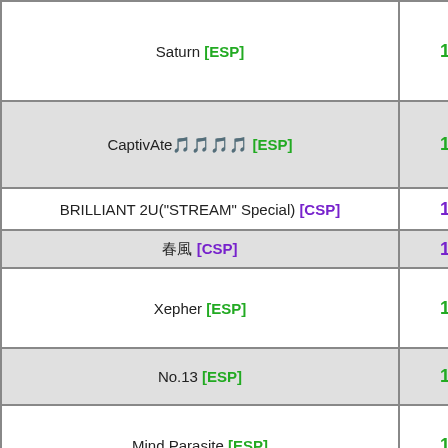| Song | Score |
| --- | --- |
| Saturn [ESP] | 13 |
| CaptivAte□□□□ [ESP] | 13 |
| BRILLIANT 2U("STREAM" Special) [CSP] | 13 |
| □□ [CSP] | 13 |
| Xepher [ESP] | 13 |
| No.13 [ESP] | 13 |
| Mind Parasite [ESP] | 13 |
| MAX 300(Super-Max-Me Mix) [DSP] | 13 |
| iFUTURELIST(DDR VERSION) [CSP] | 13 |
| Flow (True Style) [CSP] | 13 |